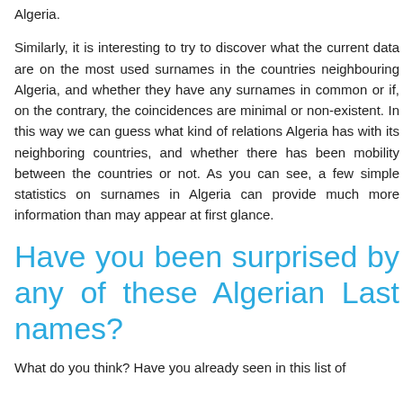Algeria.
Similarly, it is interesting to try to discover what the current data are on the most used surnames in the countries neighbouring Algeria, and whether they have any surnames in common or if, on the contrary, the coincidences are minimal or non-existent. In this way we can guess what kind of relations Algeria has with its neighboring countries, and whether there has been mobility between the countries or not. As you can see, a few simple statistics on surnames in Algeria can provide much more information than may appear at first glance.
Have you been surprised by any of these Algerian Last names?
What do you think? Have you already seen in this list of